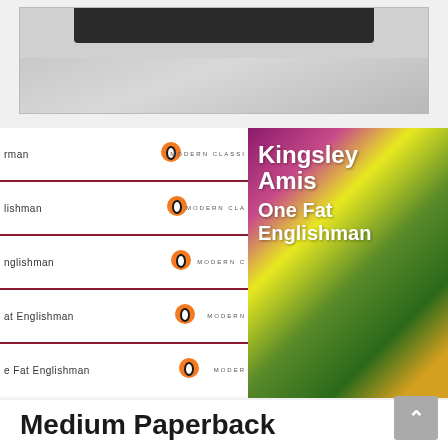[Figure (photo): Top portion of a blog page showing the bottom of a book or device photo, cropped — gray background visible.]
[Figure (photo): Two-part image: Left side shows stacked book spines of Penguin Modern Classics editions of 'One Fat Englishman' by Kingsley Amis, with orange penguin logos and 'MODERN CLASSICS' text. Right side shows the full front cover of the book — 'Kingsley Amis One Fat Englishman' in white bold text on a colorful abstract background of brown, yellow, green, and purple.]
Medium Paperback
April 8, 2018   Leave a comment